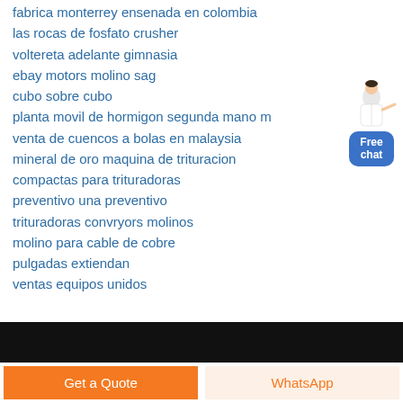fabrica monterrey ensenada en colombia
las rocas de fosfato crusher
voltereta adelante gimnasia
ebay motors molino sag
cubo sobre cubo
planta movil de hormigon segunda mano m
venta de cuencos a bolas en malaysia
mineral de oro maquina de trituracion
compactas para trituradoras
preventivo una preventivo
trituradoras convryors molinos
molino para cable de cobre
pulgadas extiendan
ventas equipos unidos
[Figure (illustration): Chat widget with person figure and Free chat button]
Get a Quote | WhatsApp